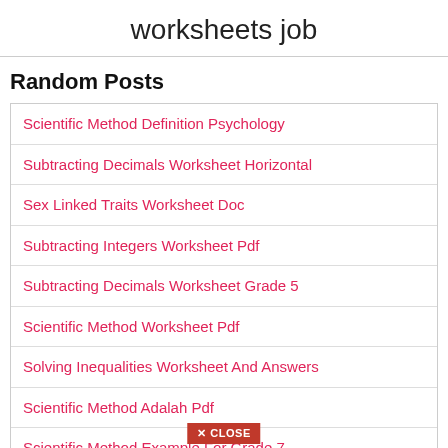worksheets job
Random Posts
Scientific Method Definition Psychology
Subtracting Decimals Worksheet Horizontal
Sex Linked Traits Worksheet Doc
Subtracting Integers Worksheet Pdf
Subtracting Decimals Worksheet Grade 5
Scientific Method Worksheet Pdf
Solving Inequalities Worksheet And Answers
Scientific Method Adalah Pdf
Scientific Method Example For Grade 7